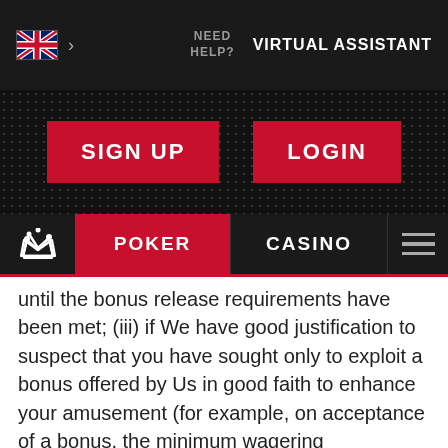NEED HELP?  VIRTUAL ASSISTANT
SIGN UP   LOGIN
POKER   CASINO
until the bonus release requirements have been met; (iii) if We have good justification to suspect that you have sought only to exploit a bonus offered by Us in good faith to enhance your amusement (for example, on acceptance of a bonus, the minimum wagering requirement is met and funds are subsequently withdrawn). In the event that this type of activity has occurred and We deem that an irregular playing pattern